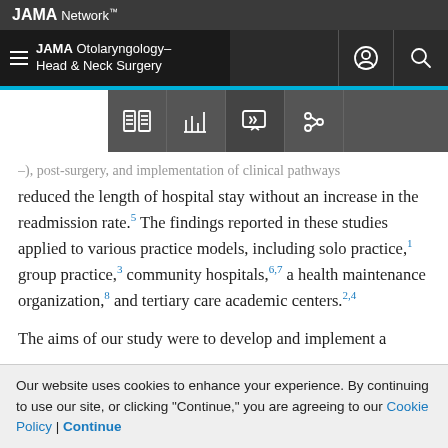JAMA Network
JAMA Otolaryngology–Head & Neck Surgery
reduced the length of hospital stay without an increase in the readmission rate.5 The findings reported in these studies applied to various practice models, including solo practice,1 group practice,3 community hospitals,6,7 a health maintenance organization,8 and tertiary care academic centers.2,4
The aims of our study were to develop and implement a
Our website uses cookies to enhance your experience. By continuing to use our site, or clicking "Continue," you are agreeing to our Cookie Policy | Continue